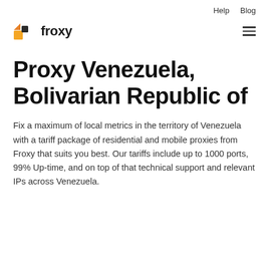Help   Blog
[Figure (logo): Froxy logo: orange and dark square/triangle shapes forming abstract icon, followed by bold text 'froxy']
Proxy Venezuela, Bolivarian Republic of
Fix a maximum of local metrics in the territory of Venezuela with a tariff package of residential and mobile proxies from Froxy that suits you best. Our tariffs include up to 1000 ports, 99% Up-time, and on top of that technical support and relevant IPs across Venezuela.